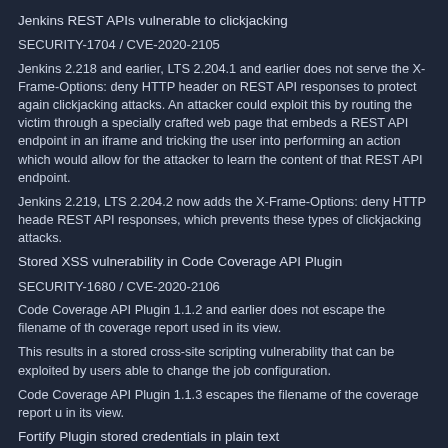Jenkins REST APIs vulnerable to clickjacking
SECURITY-1704 / CVE-2020-2105
Jenkins 2.218 and earlier, LTS 2.204.1 and earlier does not serve the X-Frame-Options: deny HTTP header on REST API responses to protect again clickjacking attacks. An attacker could exploit this by routing the victim through a specially crafted web page that embeds a REST API endpoint in an iframe and tricking the user into performing an action which would allow for the attacker to learn the content of that REST API endpoint.
Jenkins 2.219, LTS 2.204.2 now adds the X-Frame-Options: deny HTTP header REST API responses, which prevents these types of clickjacking attacks.
Stored XSS vulnerability in Code Coverage API Plugin
SECURITY-1680 / CVE-2020-2106
Code Coverage API Plugin 1.1.2 and earlier does not escape the filename of the coverage report used in its view.
This results in a stored cross-site scripting vulnerability that can be exploited by users able to change the job configuration.
Code Coverage API Plugin 1.1.3 escapes the filename of the coverage report used in its view.
Fortify Plugin stored credentials in plain text
SECURITY-1565 / CVE-2020-2107
Fortify Plugin 19.1.29 and earlier stored its proxy server password unencrypted